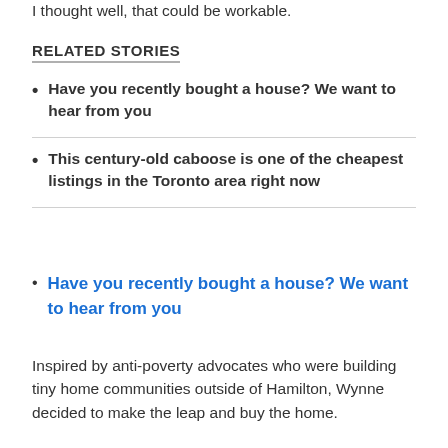I thought well, that could be workable.
RELATED STORIES
Have you recently bought a house? We want to hear from you
This century-old caboose is one of the cheapest listings in the Toronto area right now
Have you recently bought a house? We want to hear from you
Inspired by anti-poverty advocates who were building tiny home communities outside of Hamilton, Wynne decided to make the leap and buy the home.